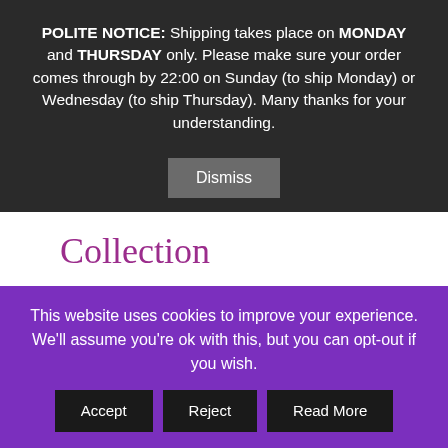POLITE NOTICE: Shipping takes place on MONDAY and THURSDAY only. Please make sure your order comes through by 22:00 on Sunday (to ship Monday) or Wednesday (to ship Thursday). Many thanks for your understanding.
Dismiss
Collection
£8.50  £7.49  In stock
Pastel neon blue.
This website uses cookies to improve your experience. We'll assume you're ok with this, but you can opt-out if you wish.
Accept  Reject  Read More